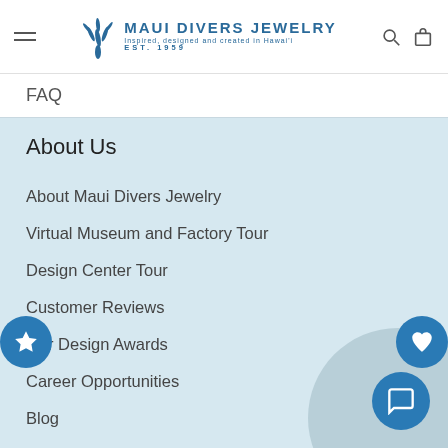Maui Divers Jewelry — Inspired, designed and created in Hawai'i EST. 1959
FAQ
About Us
About Maui Divers Jewelry
Virtual Museum and Factory Tour
Design Center Tour
Customer Reviews
Our Design Awards
Career Opportunities
Blog
In the News